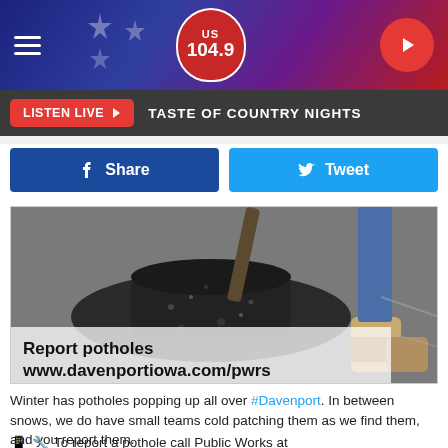US 104.9 radio station header with hamburger menu, logo shield, and play button
LISTEN LIVE ▶  TASTE OF COUNTRY NIGHTS
[Figure (illustration): Facebook Share button (blue) and Twitter Tweet button (cyan/blue) side by side]
[Figure (photo): Photo of pothole being filled with asphalt. Text overlay reads: Report potholes www.davenportiowa.com/pwrs]
Winter has potholes popping up all over #Davenport. In between snows, we do have small teams cold patching them as we find them, and you report them.
To report a pothole call Public Works at